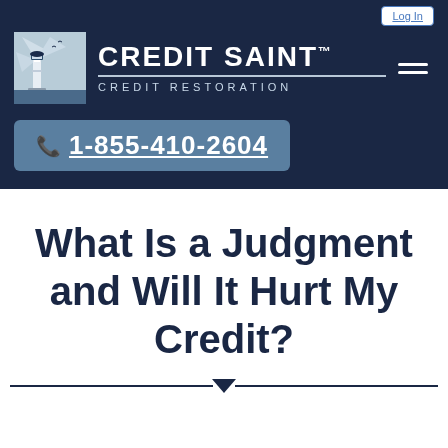[Figure (logo): Credit Saint Credit Restoration logo with lighthouse image and brand name]
☎ 1-855-410-2604
What Is a Judgment and Will It Hurt My Credit?